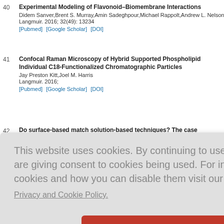40 Experimental Modeling of Flavonoid–Biomembrane Interactions. Didem Sanver,Brent S. Murray,Amin Sadeghpour,Michael Rappolt,Andrew L. Nelson. Langmuir. 2016; 32(49): 13234. [Pubmed] [Google Scholar] [DOI]
41 Confocal Raman Microscopy of Hybrid Supported Phospholipid Individual C18-Functionalized Chromatographic Particles. Jay Preston Kitt,Joel M. Harris. Langmuir. 2016;. [Pubmed] [Google Scholar] [DOI]
42 Do surface-based match solution-based techniques? The case ...
This website uses cookies. By continuing to use this website you are giving consent to cookies being used. For information on cookies and how you can disable them visit our
Privacy and Cookie Policy.
AGREE & PROCEED
sight
embrane t
Tiezzi,A. C
Biochimica et Biophysica Acta (BBA) - General Subjects. 2015; 1850(4): 759